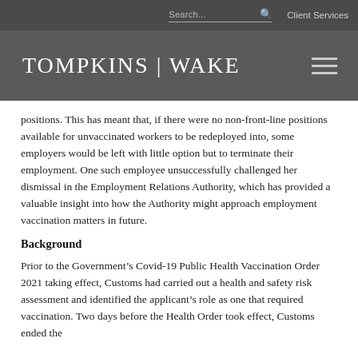Search... | Client Services
TOMPKINS | WAKE
positions. This has meant that, if there were no non-front-line positions available for unvaccinated workers to be redeployed into, some employers would be left with little option but to terminate their employment. One such employee unsuccessfully challenged her dismissal in the Employment Relations Authority, which has provided a valuable insight into how the Authority might approach employment vaccination matters in future.
Background
Prior to the Government’s Covid-19 Public Health Vaccination Order 2021 taking effect, Customs had carried out a health and safety risk assessment and identified the applicant’s role as one that required vaccination. Two days before the Health Order took effect, Customs ended the